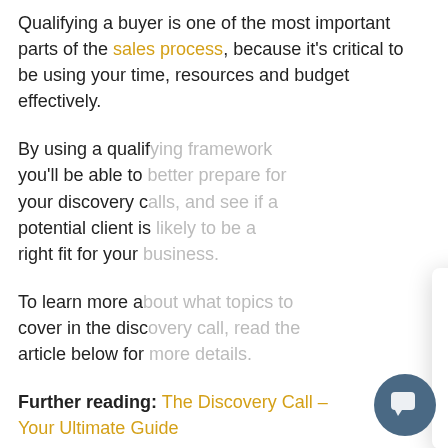Qualifying a buyer is one of the most important parts of the sales process, because it’s critical to be using your time, resources and budget effectively.
By using a qualifying framework you’ll be able to better prepare for your discovery calls, and see if a potential client is likely to be a right fit for your …
To learn more al… cover in the disc… article below for … more details.
Further reading: The Discovery Call – Your Ultimate Guide
[Figure (screenshot): Chat popup overlay showing a person in a suit at the top, with the message 'Nice to meet you! Have any sales training questions? If so, check out our online sales training course here:' followed by a URL 'https://www.5percentinstitute.c... percent-sales-blueprint'. A close (X) button is in the top right. A black button bar appears at the bottom right of the popup. A teal chat bubble button is in the bottom right of the screen.]